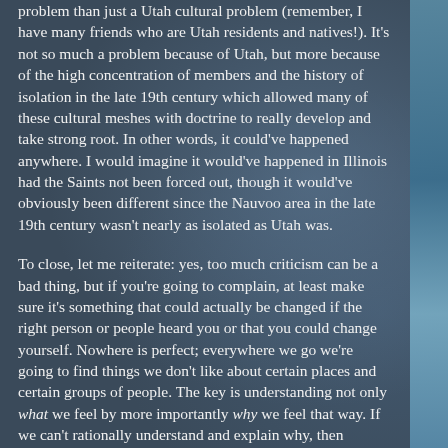problem than just a Utah cultural problem (remember, I have many friends who are Utah residents and natives!). It's not so much a problem because of Utah, but more because of the high concentration of members and the history of isolation in the late 19th century which allowed many of these cultural meshes with doctrine to really develop and take strong root. In other words, it could've happened anywhere. I would imagine it would've happened in Illinois had the Saints not been forced out, though it would've obviously been different since the Nauvoo area in the late 19th century wasn't nearly as isolated as Utah was.
To close, let me reiterate: yes, too much criticism can be a bad thing, but if you're going to complain, at least make sure it's something that could actually be changed if the right person or people heard you or that you could change yourself. Nowhere is perfect; everywhere we go we're going to find things we don't like about certain places and certain groups of people. The key is understanding not only what we feel by more importantly why we feel that way. If we can't rationally understand and explain why, then perhaps we're just being overly critical. On the other end, in hearing criticism we need to understand the why and lend a listening and sympathetic ear. Maybe the person would benefit from some "local advice" on how we deal with this or that (which is why it doesn't bother us as much) or maybe it's something we've never even considered and now have an additional viewpoint! Critical thinking is key!!